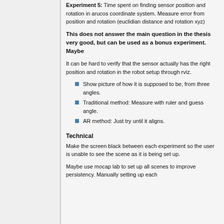Experiment 5: Time spent on finding sensor position and rotation in arucos coordinate system. Measure error from position and rotation (euclidian distance and rotation xyz)
This does not answer the main question in the thesis very good, but can be used as a bonus experiment. Maybe
It can be hard to verify that the sensor actually has the right position and rotation in the robot setup through rviz.
Show picture of how it is supposed to be, from three angles.
Traditional method: Measure with ruler and guess angle.
AR method: Just try until it aligns.
Technical
Make the screen black between each experiment so the user is unable to see the scene as it is being set up.
Maybe use mocap lab to set up all scenes to improve persistency. Manually setting up each